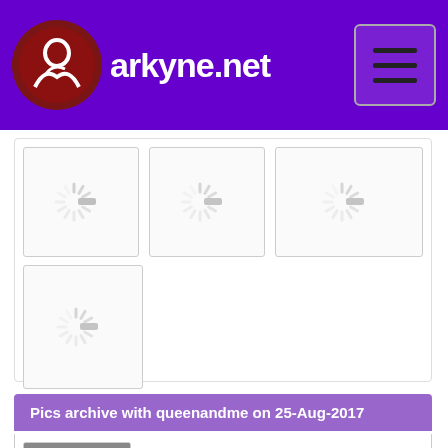markyne.net
[Figure (screenshot): Four image thumbnail placeholders with loading spinner icons (gray radial spinner with dash), arranged in a 3+1 grid layout inside a bordered container]
Pics archive with queenandme on 25-Aug-2017
[Figure (photo): Partial view of a photo thumbnail showing a person in white top against gray background]